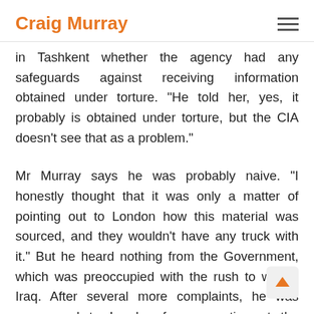Craig Murray
in Tashkent whether the agency had any safeguards against receiving information obtained under torture. “He told her, yes, it probably is obtained under torture, but the CIA doesn’t see that as a problem.”
Mr Murray says he was probably naive. “I honestly thought that it was only a matter of pointing out to London how this material was sourced, and they wouldn’t have any truck with it.” But he heard nothing from the Government, which was preoccupied with the rush to war in Iraq. After several more complaints, he was summoned to London for a meeting at the Foreign Office in March 2003. He was told the information was useful and not illegal to obtain, although it could not be used in a court of law. His line manager later told him he